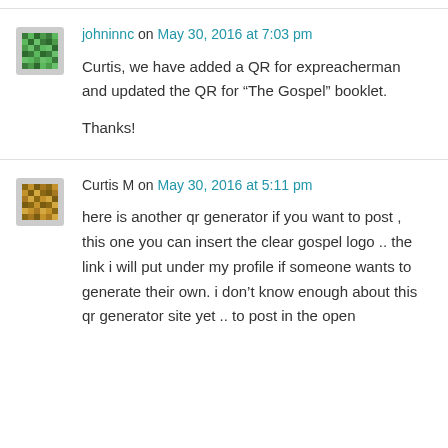johninnc on May 30, 2016 at 7:03 pm
Curtis, we have added a QR for expreacherman and updated the QR for “The Gospel” booklet.

Thanks!
Curtis M on May 30, 2016 at 5:11 pm
here is another qr generator if you want to post , this one you can insert the clear gospel logo .. the link i will put under my profile if someone wants to generate their own. i don’t know enough about this qr generator site yet .. to post in the open